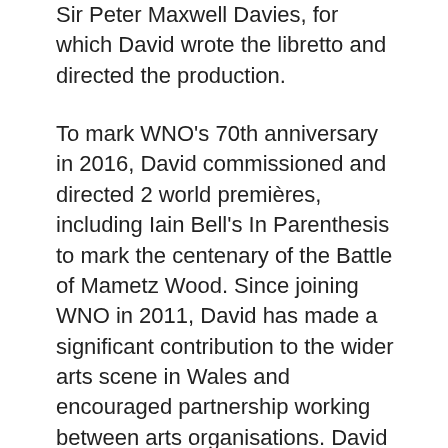Sir Peter Maxwell Davies, for which David wrote the libretto and directed the production.
To mark WNO's 70th anniversary in 2016, David commissioned and directed 2 world premières, including Iain Bell's In Parenthesis to mark the centenary of the Battle of Mametz Wood. Since joining WNO in 2011, David has made a significant contribution to the wider arts scene in Wales and encouraged partnership working between arts organisations. David was also chairman of the jury of the Cardiff Singer of the World competition in 2015 and 2017.
As well as being WNO's Artistic Director, David continues to work around the world as a freelance opera director and his work is widely recognised and staged. He has also built a presence for WNO abroad, particularly in Oman and Dubai, where the